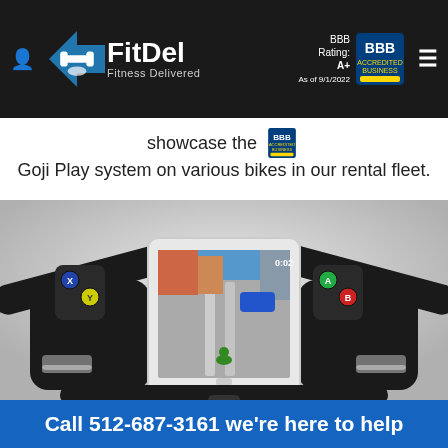FitDel Fitness Delivered | BBB Rating: A+ As of 9/1/2022
showcase the [BBB logo] Goji Play system on various bikes in our rental fleet.
[Figure (photo): Exercise bike handlebars with a tablet holder showing a Goji Play cycling game on the screen. The handlebar has game controller buttons on each side.]
Call 512-687-3161 we're here to help